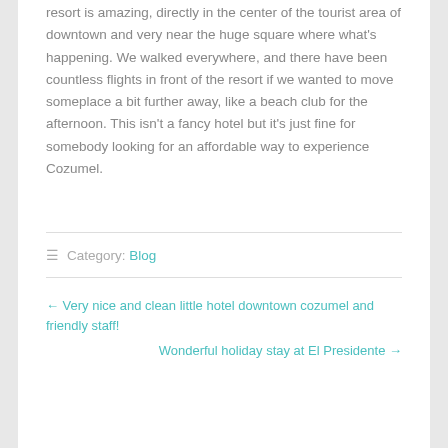resort is amazing, directly in the center of the tourist area of downtown and very near the huge square where what's happening. We walked everywhere, and there have been countless flights in front of the resort if we wanted to move someplace a bit further away, like a beach club for the afternoon. This isn't a fancy hotel but it's just fine for somebody looking for an affordable way to experience Cozumel.
Category: Blog
← Very nice and clean little hotel downtown cozumel and friendly staff!
Wonderful holiday stay at El Presidente →